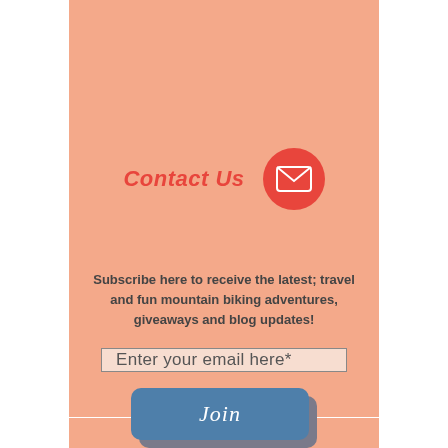Contact Us
[Figure (illustration): Red circle with white envelope/email icon]
Subscribe here to receive the latest; travel and fun mountain biking adventures, giveaways and blog updates!
Enter your email here*
Join
© 2022 Create Your Own Adventure